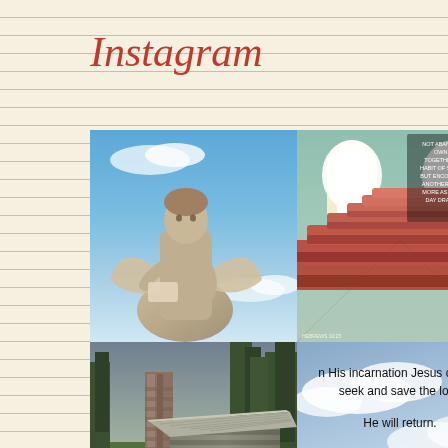Instagram
[Figure (photo): Angel statue photographed from below against a blue sky with clouds]
[Figure (photo): Church interior with red/orange wooden pews and bright arched windows, with biblical quote overlay: 'NOT ABANDONING OUR OWN MEETING TOGETHER, AS IS THE HABIT OF SOME PEOPLE, BUT ENCOURAGING ONE ANOTHER; AND ALL THE MORE AS YOU SEE THE DAY DRAWING NEAR.']
[Figure (photo): Old log cabin or wood building with stone chimney surrounded by trees]
[Figure (photo): Sky background with text: 'In His incarnation Jesus came to seek and save the lost. He will return. The second time will be to judge the living and the dead. Repent and be saved from the wrath of the Lamb.']